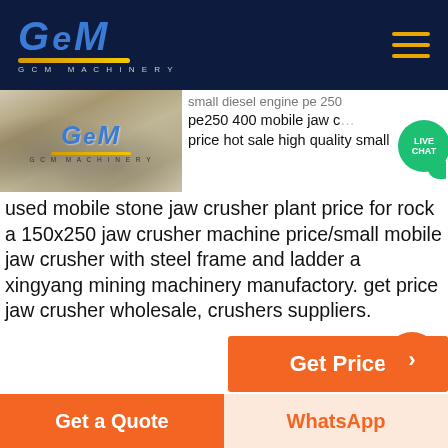GCM — navigation header with hamburger menu
[Figure (photo): GCM Machinery logo/quarry image with rocks and GCM brand overlay]
small diesel engine pe 250 pe250 400 mobile jaw crusher price hot sale high quality small used mobile stone jaw crusher plant price for rock a 150x250 jaw crusher machine price/small mobile jaw crusher with steel frame and ladder a xingyang mining machinery manufactory. get price jaw crusher wholesale, crushers suppliers.
Get Price
[Figure (photo): Industrial plant/aggregate processing facility with conveyors and silos]
china supplier high reliability loose sandst
Get a Quote   WhatsApp